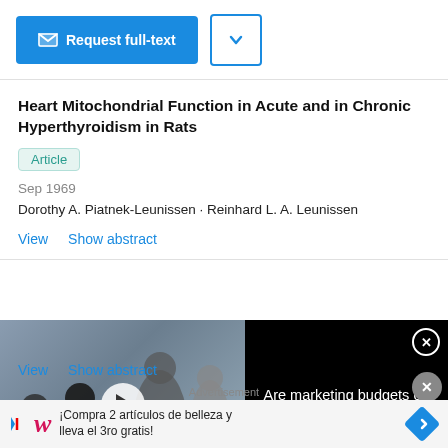[Figure (screenshot): Request full-text button (blue) and dropdown arrow button]
Heart Mitochondrial Function in Acute and in Chronic Hyperthyroidism in Rats
Article
Sep 1969
Dorothy A. Piatnek-Leunissen · Reinhard L. A. Leunissen
View   Show abstract
[Figure (screenshot): Video advertisement thumbnail showing people in office with text 'ARE MARKETING BUDGETS ON AUTOPILOT?' and play button, alongside black panel with text 'Are marketing budgets on autopilot?' and close button]
View   Show abstract
Advertisement
¡Compra 2 artículos de belleza y lleva el 3ro gratis!